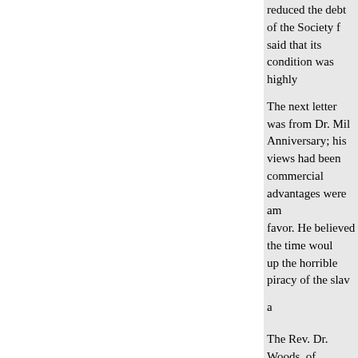reduced the debt of the Society f said that its condition was highly
The next letter was from Dr. Mil Anniversary; his views had been commercial advantages were am favor. He believed the time woul up the horrible piracy of the slav
a
The Rev. Dr. Woods, of Andover been always dear to him, and he in his neighborhood and through be found, he hoped it would be a by it a great amount of blessing v
The Hon. Gideon Lee, of Onta most glorious enterprise. He beli benefitted by it. He anticipated b long benighted regions of Africa. work.
The Rev. Dr. Miller, of Princeton with their own consent, on that d constant wonder was that there c